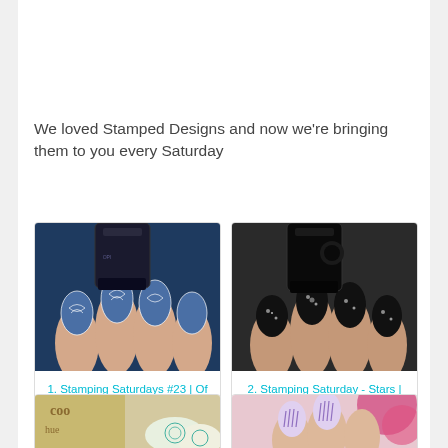We loved Stamped Designs and now we're bringing them to you every Saturday
[Figure (photo): Photo of hand with blue stamped nail art design, nail polish bottle visible]
1.  Stamping Saturdays #23 | Of Life And Lacquer
[Figure (photo): Photo of hand with black glitter stamped nail art design, black nail polish bottle visible]
2.  Stamping Saturday - Stars | Lacquer Me Silly
[Figure (photo): Photo of hand with pastel stamped nail art design, teal mandala pattern]
[Figure (photo): Photo of hand with purple/white striped stamped nail art, pink flowers in background]